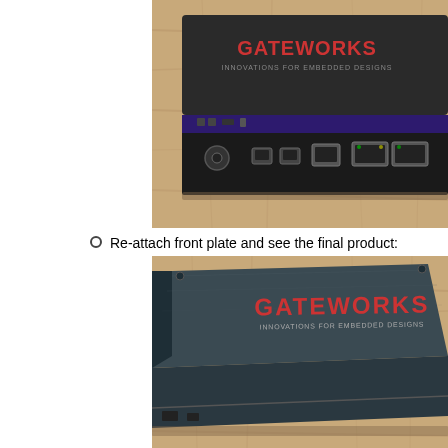[Figure (photo): Photo of a Gateworks embedded computing device showing front panel with USB ports, Ethernet ports, and power connector, placed on a wooden surface. The top panel shows the Gateworks logo in red text.]
Re-attach front plate and see the final product:
[Figure (photo): Photo of a closed Gateworks device enclosure showing the top cover with the Gateworks logo and 'Innovations for Embedded Designs' text in red, on a wooden surface.]